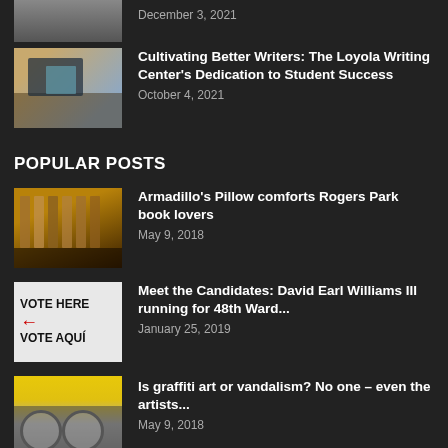[Figure (photo): Partial top image, cropped at top of page]
December 3, 2021
[Figure (photo): Student at desk in library/writing center with laptop]
Cultivating Better Writers: The Loyola Writing Center's Dedication to Student Success
October 4, 2021
POPULAR POSTS
[Figure (photo): Interior of a dimly lit bookstore with shelves of books]
Armadillo's Pillow comforts Rogers Park book lovers
May 9, 2018
[Figure (photo): Vote Here / Vote Aquí sign with red arrow]
Meet the Candidates: David Earl Williams III running for 48th Ward...
January 25, 2019
[Figure (photo): Graffiti mural on yellow wall]
Is graffiti art or vandalism? No one – even the artists...
May 9, 2018